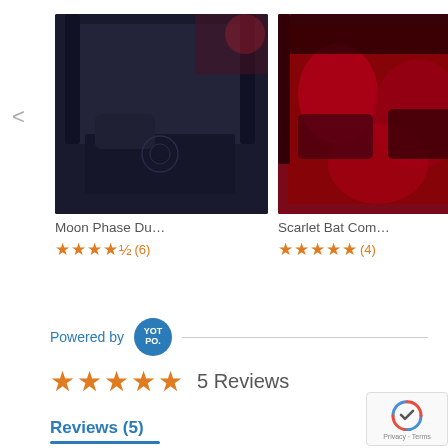[Figure (screenshot): Product carousel showing three bedding products: Moon Phase Du..., Scarlet Bat Com..., and a partially visible third item. Each product has a photo thumbnail, title, star rating, and review count.]
Powered by YOTPO
5 Reviews (5 star rating)
Reviews (5)